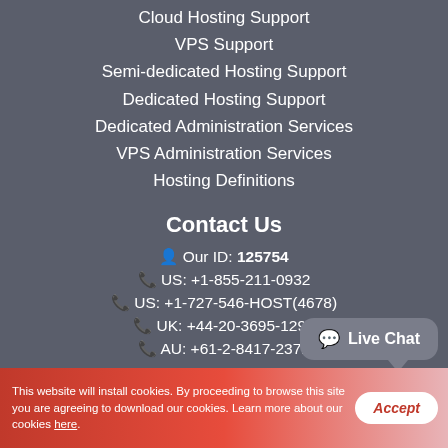Cloud Hosting Support
VPS Support
Semi-dedicated Hosting Support
Dedicated Hosting Support
Dedicated Administration Services
VPS Administration Services
Hosting Definitions
Contact Us
Our ID: 125754
US: +1-855-211-0932
US: +1-727-546-HOST(4678)
UK: +44-20-3695-1294
AU: +61-2-8417-2372
[Figure (other): Live Chat button bubble]
This website will install cookies. By proceeding to browse this site you are agreeing to download our cookies. Learn more about our cookies here.